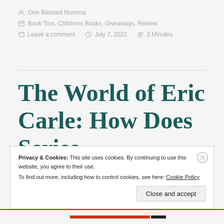One Blessed Momma
Book Tour, Childrens Books, Giveaways, Review
Leave a comment   July 7, 2022   3 Minutes
The World of Eric Carle: How Does Series
Privacy & Cookies: This site uses cookies. By continuing to use this website, you agree to their use. To find out more, including how to control cookies, see here: Cookie Policy
Close and accept